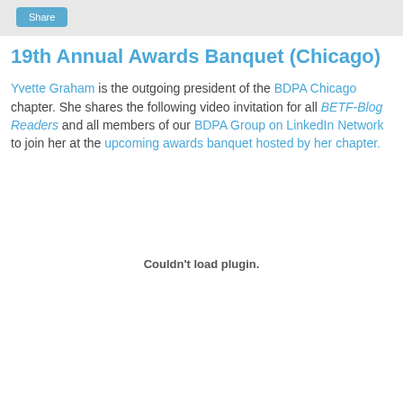Share
19th Annual Awards Banquet (Chicago)
Yvette Graham is the outgoing president of the BDPA Chicago chapter. She shares the following video invitation for all BETF-Blog Readers and all members of our BDPA Group on LinkedIn Network to join her at the upcoming awards banquet hosted by her chapter.
[Figure (other): Embedded video plugin area showing 'Couldn't load plugin.' message]